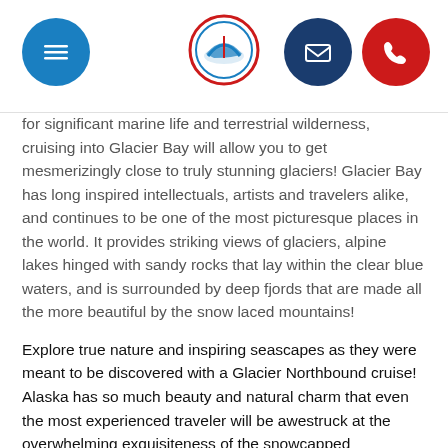[Navigation header with menu, logo, email, and phone buttons]
for significant marine life and terrestrial wilderness, cruising into Glacier Bay will allow you to get mesmerizingly close to truly stunning glaciers! Glacier Bay has long inspired intellectuals, artists and travelers alike, and continues to be one of the most picturesque places in the world. It provides striking views of glaciers, alpine lakes hinged with sandy rocks that lay within the clear blue waters, and is surrounded by deep fjords that are made all the more beautiful by the snow laced mountains!
Explore true nature and inspiring seascapes as they were meant to be discovered with a Glacier Northbound cruise! Alaska has so much beauty and natural charm that even the most experienced traveler will be awestruck at the overwhelming exquisiteness of the snowcapped mountains, lush forests, crystal clear waters, and truly pristine glaciers! Experience the romance and rugged beauty of Alaska on a Glacier Northbound cruise!
Find sailing dates and pricing for your next cruise. Glacier Northbound...